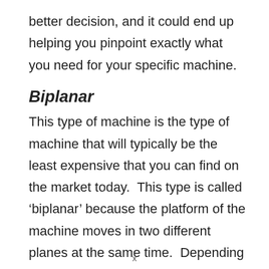better decision, and it could end up helping you pinpoint exactly what you need for your specific machine.
Biplanar
This type of machine is the type of machine that will typically be the least expensive that you can find on the market today.  This type is called ‘biplanar’ because the platform of the machine moves in two different planes at the same time.  Depending on the makeup of the
x